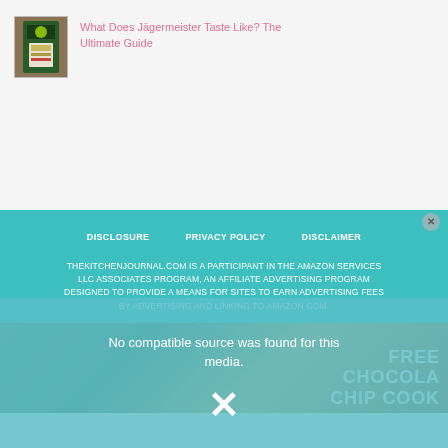[Figure (photo): Small thumbnail image of a Jägermeister bottle with green label]
What Does Jägermeister Taste Like? The Ultimate Guide
DISCLOSURE   PRIVACY POLICY   DISCLAIMER
THEKITCHENJOURNAL.COM IS A PARTICIPANT IN THE AMAZON SERVICES LLC ASSOCIATES PROGRAM, AN AFFILIATE ADVERTISING PROGRAM DESIGNED TO PROVIDE A MEANS FOR SITES TO EARN ADVERTISING FEES BY ADVERTISING AND LINKING TO AMAZON.COM.
No compatible source was found for this media.